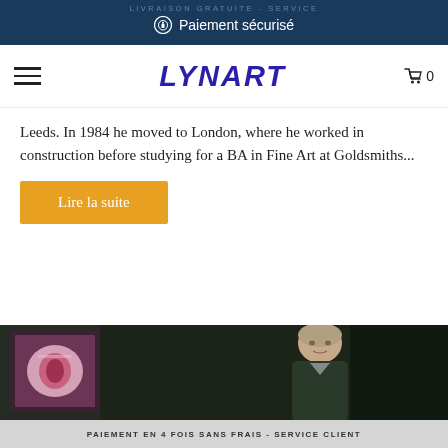LIVRAISON GRATUITE - SERVICE
🔒 Paiement sécurisé
LYNART
Leeds. In 1984 he moved to London, where he worked in construction before studying for a BA in Fine Art at Goldsmiths...
Lire la suite
[Figure (photo): A man photographed indoors near an artwork/poster on the wall]
PAIEMENT EN 4 FOIS SANS FRAIS - SERVICE CLIENT